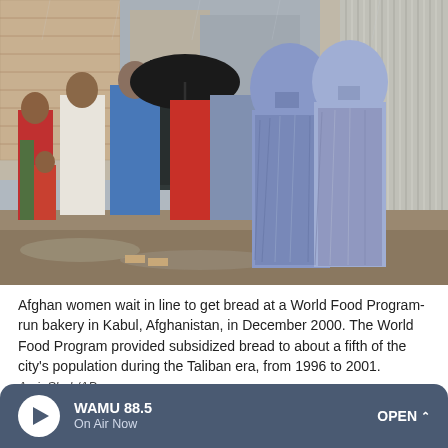[Figure (photo): Afghan women and children wait in line outside a bakery in Kabul, Afghanistan, in rainy weather. Two women wearing full light-blue burqas are prominent on the right. Other people in the queue wear colorful clothing including red, white, and blue. A person holds a black umbrella. The scene is set against corrugated metal shutters on the right and a wet muddy street.]
Afghan women wait in line to get bread at a World Food Program-run bakery in Kabul, Afghanistan, in December 2000. The World Food Program provided subsidized bread to about a fifth of the city's population during the Taliban era, from 1996 to 2001.
Amir Shah/AP